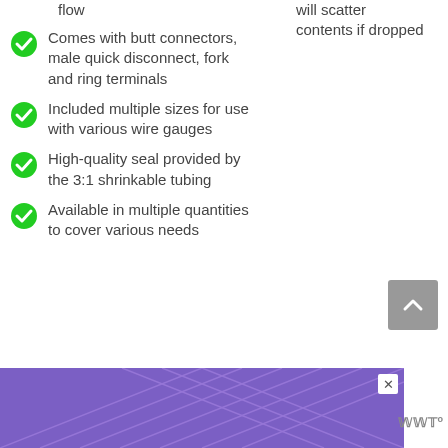flow
will scatter
contents if dropped
Comes with butt connectors, male quick disconnect, fork and ring terminals
Included multiple sizes for use with various wire gauges
High-quality seal provided by the 3:1 shrinkable tubing
Available in multiple quantities to cover various needs
[Figure (screenshot): Advertisement banner: purple background with orange italic text 'This isn't forever. It's just right now.' with a close button and logo]
[Figure (other): Gray scroll-to-top button with upward chevron arrow]